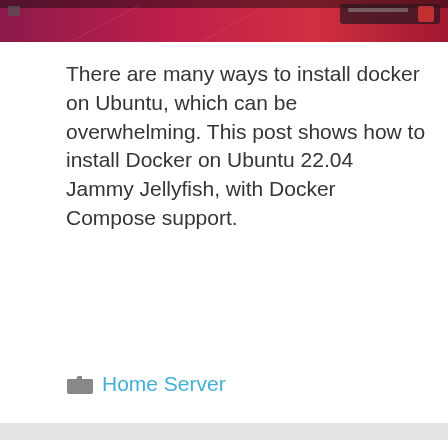[Figure (screenshot): Top portion of a webpage screenshot showing a dark reddish/purple Ubuntu-themed background with some UI elements visible]
There are many ways to install docker on Ubuntu, which can be overwhelming. This post shows how to install Docker on Ubuntu 22.04 Jammy Jellyfish, with Docker Compose support.
Home Server
Home - Home Server
[Figure (screenshot): Advertisement banner: PAWFECT MATCH with a cat logo on dark background]